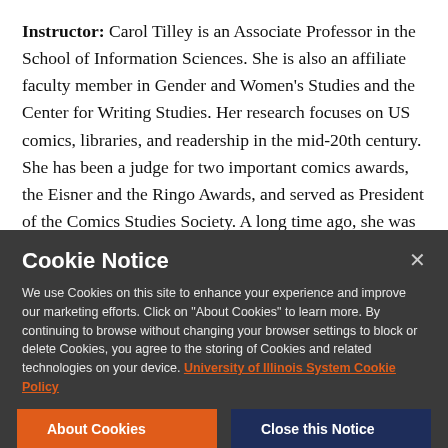Instructor: Carol Tilley is an Associate Professor in the School of Information Sciences. She is also an affiliate faculty member in Gender and Women's Studies and the Center for Writing Studies. Her research focuses on US comics, libraries, and readership in the mid-20th century. She has been a judge for two important comics awards, the Eisner and the Ringo Awards, and served as President of the Comics Studies Society. A long time ago, she was a student
Cookie Notice

We use Cookies on this site to enhance your experience and improve our marketing efforts. Click on "About Cookies" to learn more. By continuing to browse without changing your browser settings to block or delete Cookies, you agree to the storing of Cookies and related technologies on your device. University of Illinois System Cookie Policy